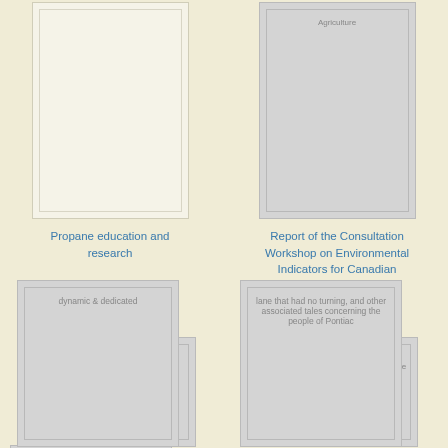[Figure (illustration): Book cover card, cream/white background, no visible text]
Propane education and research
[Figure (illustration): Book cover card, grey background, text at top: Agriculture]
Report of the Consultation Workshop on Environmental Indicators for Canadian Agriculture
[Figure (illustration): Book cover card, grey background, text: dynamic & dedicated]
[Figure (illustration): Book cover card, grey background, text: lane that had no turning, and other associated tales concerning the people of Pontiac]